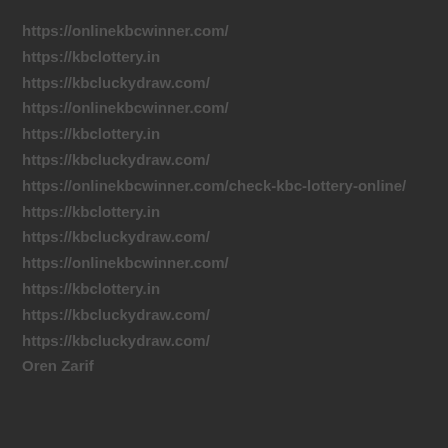https://onlinekbcwinner.com/
https://kbclottery.in
https://kbcluckydraw.com/
https://onlinekbcwinner.com/
https://kbclottery.in
https://kbcluckydraw.com/
https://onlinekbcwinner.com/check-kbc-lottery-online/
https://kbclottery.in
https://kbcluckydraw.com/
https://onlinekbcwinner.com/
https://kbclottery.in
https://kbcluckydraw.com/
https://kbcluckydraw.com/
Oren Zarif